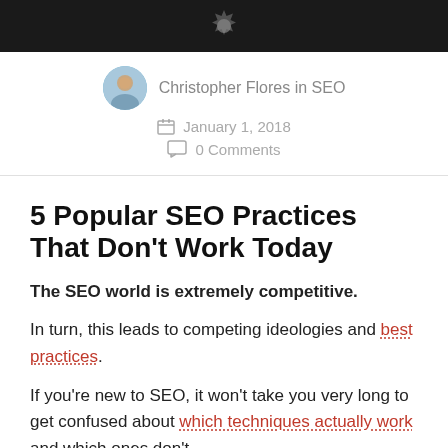[Figure (photo): Dark banner header image with a gear/settings icon visible]
Christopher Flores in SEO
January 1, 2018
0 Comments
5 Popular SEO Practices That Don't Work Today
The SEO world is extremely competitive.
In turn, this leads to competing ideologies and best practices.
If you're new to SEO, it won't take you very long to get confused about which techniques actually work and which ones don't.